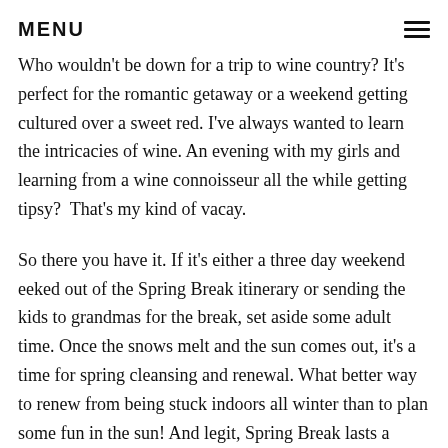MENU
Who wouldn't be down for a trip to wine country? It's perfect for the romantic getaway or a weekend getting cultured over a sweet red. I've always wanted to learn the intricacies of wine. An evening with my girls and learning from a wine connoisseur all the while getting tipsy?  That's my kind of vacay.
So there you have it. If it's either a three day weekend eeked out of the Spring Break itinerary or sending the kids to grandmas for the break, set aside some adult time. Once the snows melt and the sun comes out, it's a time for spring cleansing and renewal. What better way to renew from being stuck indoors all winter than to plan some fun in the sun! And legit, Spring Break lasts a whole week (plus two weekends).  That's 9 whole days to fill. There's everything RIGHT about staving off a couple days for yourself, your boo, or for you and your girls. And you'll be a